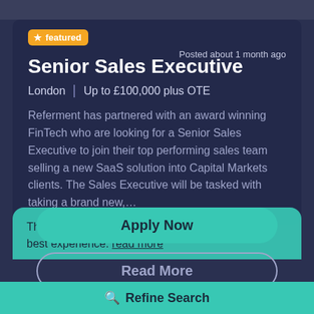featured
Posted about 1 month ago
Senior Sales Executive
London | Up to £100,000 plus OTE
Referment has partnered with an award winning FinTech who are looking for a Senior Sales Executive to join their top performing sales team selling a new SaaS solution into Capital Markets clients. The Sales Executive will be tasked with taking a brand new,...
This website uses cookies to ensure you get the best experience. read more
Apply Now
Read More
Got it!
Refine Search